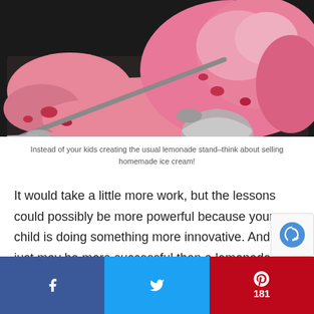[Figure (photo): A metal ice cream scoop scooping pink strawberry ice cream from a dark metal tray/container, close-up shot]
Instead of your kids creating the usual lemonade stand–think about selling homemade ice cream!
It would take a little more work, but the lessons could possibly be more powerful because your child is doing something more innovative. And it just may be more successful than a lemonade stand. Why? Because
f [Facebook share] | [Twitter share] | P 181 [Pinterest share]